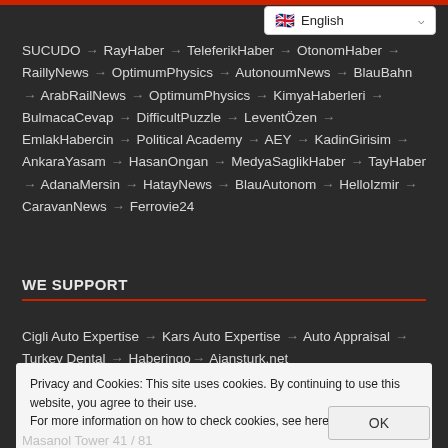English language selector dropdown
SUCUDO → RayHaber → TeleferikHaber → OtonomHaber → RaillyNews → OptimumPhysics → AutonoumNews → BlauBahn → ArabRailNews → OptimumPhysics → KimyaHaberleri → BulmacaCevap → DifficultPuzzle → LeventÖzen → EmlakHabercin → Political Academy → AEY → KadinGirisim → AnkaraYasam → HasanOngan → MedyaSaglikHaber → TayHaber → AdanaMersin → HatayNews → BlauAutonom → HelloIzmir → CaravanNews → Ferrovie24
WE SUPPORT
Cigli Auto Expertise → Kars Auto Expertise → Auto Appraisal → Turkey Dental → Haberingo → Ajansturk.net
Privacy and Cookies: This site uses cookies. By continuing to use this website, you agree to their use.
For more information on how to check cookies, see here: Cookie Policy
Masanol Tower 41 / 81